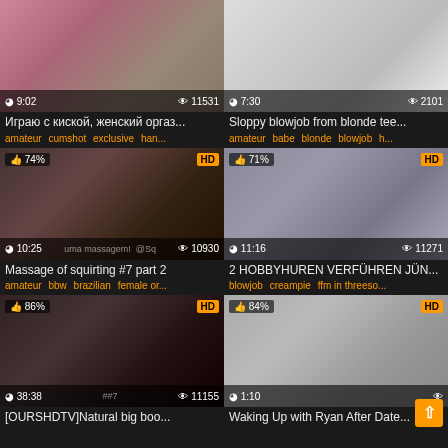[Figure (screenshot): Video thumbnail grid showing adult video content listings with thumbnails, duration, view counts, titles and tags]
Играю с киской, женский оргаз...
amateur cumshot exclusive han...
Sloppy blowjob from blonde tee...
amateur babe blonde blowjob h...
Massage of squirting #7 part 2
amateur bbw brazilian female or...
2 HOBBYHUREN VERFÜHREN JÜN...
blowjob creampie ffm in threeso...
[OURSHDTV]Natural big boo...
Waking Up with Ryan After Date...